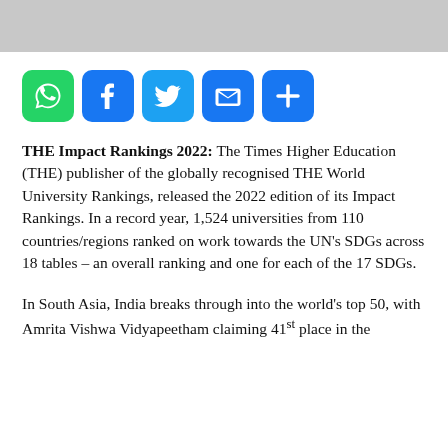[Figure (other): Gray header banner bar at top of page]
[Figure (infographic): Social sharing icons: WhatsApp (green), Facebook (blue), Twitter (blue), Email (blue), More/Plus (blue)]
THE Impact Rankings 2022: The Times Higher Education (THE) publisher of the globally recognised THE World University Rankings, released the 2022 edition of its Impact Rankings. In a record year, 1,524 universities from 110 countries/regions ranked on work towards the UN's SDGs across 18 tables – an overall ranking and one for each of the 17 SDGs.
In South Asia, India breaks through into the world's top 50, with Amrita Vishwa Vidyapeetham claiming 41st place in the